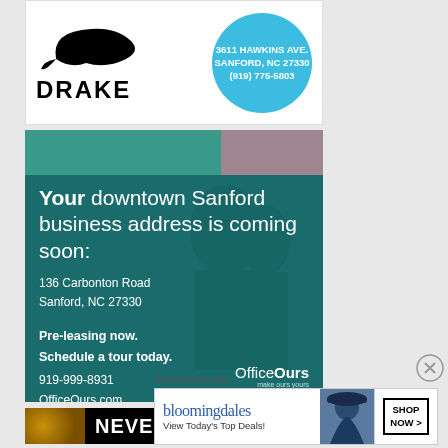[Figure (logo): Drake brand advertisement with duck logo and contact info: 3611 HAWKINS AVE., SANFORD, NC 27330, (919) 775-5803]
[Figure (infographic): OfficeOurs advertisement: 'Your downtown Sanford business address is coming soon: 136 Carbonton Road, Sanford, NC 27330. Pre-leasing now. Schedule a tour today. 919-999-8931, OfficeOurs.com']
[Figure (infographic): NEVER LOSE advertisement banner with gold and black background]
Advertisements
[Figure (infographic): Bloomingdales advertisement: 'View Today's Top Deals!' with SHOP NOW > button]